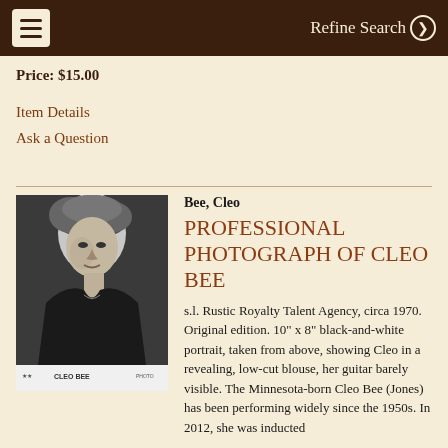Refine Search
Price: $15.00
Item Details
Ask a Question
[Figure (photo): Black-and-white professional portrait photograph of Cleo Bee, taken from above, showing her in a revealing low-cut blouse with a guitar barely visible. Text at bottom reads 'CLEO BEE'.]
Bee, Cleo
PROFESSIONAL PHOTOGRAPH OF CLEO BEE
s.l. Rustic Royalty Talent Agency, circa 1970. Original edition. 10" x 8" black-and-white portrait, taken from above, showing Cleo in a revealing, low-cut blouse, her guitar barely visible. The Minnesota-born Cleo Bee (Jones) has been performing widely since the 1950s. In 2012, she was inducted